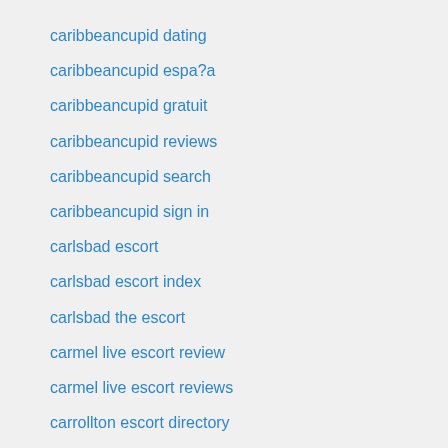caribbeancupid dating
caribbeancupid espa?a
caribbeancupid gratuit
caribbeancupid reviews
caribbeancupid search
caribbeancupid sign in
carlsbad escort
carlsbad escort index
carlsbad the escort
carmel live escort review
carmel live escort reviews
carrollton escort directory
carrollton escort index
carrollton the escort